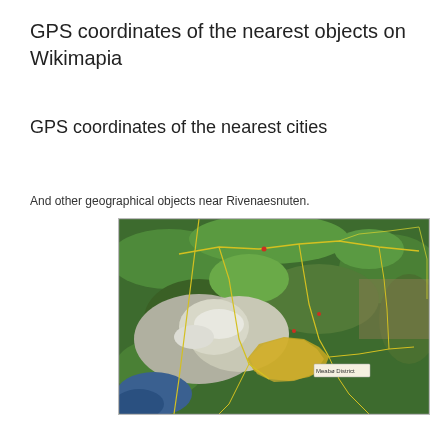GPS coordinates of the nearest objects on Wikimapia
GPS coordinates of the nearest cities
And other geographical objects near Rivenaesnuten.
[Figure (map): Satellite map showing forested mountainous terrain with yellow roads/paths and a highlighted yellow district (Meabø District label visible) in the lower center region. Blue water body visible at lower left. Green forest cover dominates the image.]